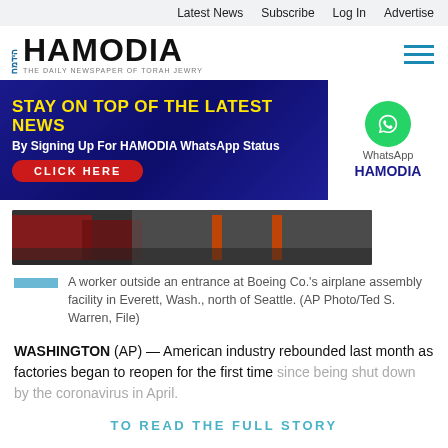Latest News  Subscribe  Log In  Advertise
[Figure (logo): Hamodia newspaper logo with Hebrew text and tagline 'The Daily Newspaper of Torah Jewry']
[Figure (infographic): Banner ad: 'STAY ON TOP OF THE LATEST NEWS By Signing Up For HAMODIA WhatsApp Status CLICK HERE' with WhatsApp icon and Hamodia branding on white panel]
[Figure (photo): A worker outside an entrance at Boeing Co.'s airplane assembly facility in Everett, Wash., north of Seattle.]
A worker outside an entrance at Boeing Co.'s airplane assembly facility in Everett, Wash., north of Seattle. (AP Photo/Ted S. Warren, File)
WASHINGTON (AP) — American industry rebounded last month as factories began to reopen for the first time since being shut down by the coronavirus in April.
TO READ THE FULL STORY